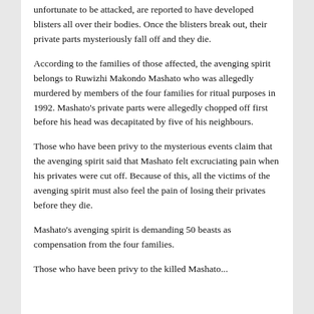unfortunate to be attacked, are reported to have developed blisters all over their bodies. Once the blisters break out, their private parts mysteriously fall off and they die.
According to the families of those affected, the avenging spirit belongs to Ruwizhi Makondo Mashato who was allegedly murdered by members of the four families for ritual purposes in 1992. Mashato's private parts were allegedly chopped off first before his head was decapitated by five of his neighbours.
Those who have been privy to the mysterious events claim that the avenging spirit said that Mashato felt excruciating pain when his privates were cut off. Because of this, all the victims of the avenging spirit must also feel the pain of losing their privates before they die.
Mashato's avenging spirit is demanding 50 beasts as compensation from the four families.
Those who have been privy to the killed Mashato...